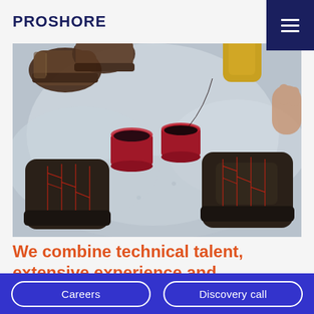PROSHORE
[Figure (photo): Overhead view of people's feet in hiking boots standing in snow around red camping mugs, with a thermos pouring coffee.]
We combine technical talent, extensive experience and entrepreneurship to accelerate
Careers | Discovery call